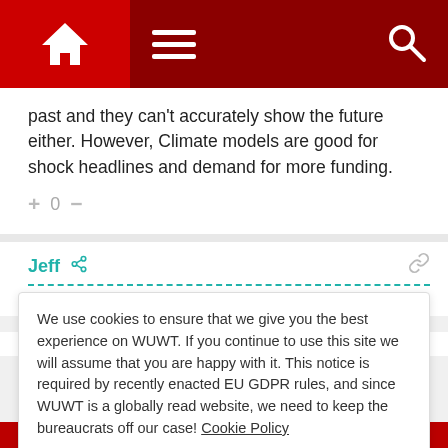[Figure (screenshot): Dark red navigation bar with home icon, hamburger menu, and search icon]
past and they can't accurately show the future either. However, Climate models are good for shock headlines and demand for more funding.
+ 0 −
Jeff
March 25, 2013 5:45 pm
Climate models not good enough – please send money
We use cookies to ensure that we give you the best experience on WUWT. If you continue to use this site we will assume that you are happy with it. This notice is required by recently enacted EU GDPR rules, and since WUWT is a globally read website, we need to keep the bureaucrats off our case! Cookie Policy
Close and accept